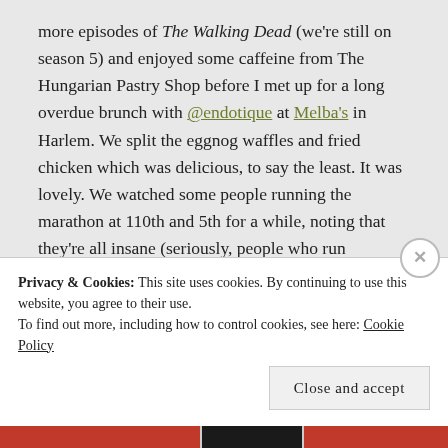more episodes of The Walking Dead (we're still on season 5) and enjoyed some caffeine from The Hungarian Pastry Shop before I met up for a long overdue brunch with @endotique at Melba's in Harlem. We split the eggnog waffles and fried chicken which was delicious, to say the least. It was lovely. We watched some people running the marathon at 110th and 5th for a while, noting that they're all insane (seriously, people who run marathons are insane – it's unhealthy).
The rest of the evening was filled with the rest of season
Privacy & Cookies: This site uses cookies. By continuing to use this website, you agree to their use.
To find out more, including how to control cookies, see here: Cookie Policy
Close and accept